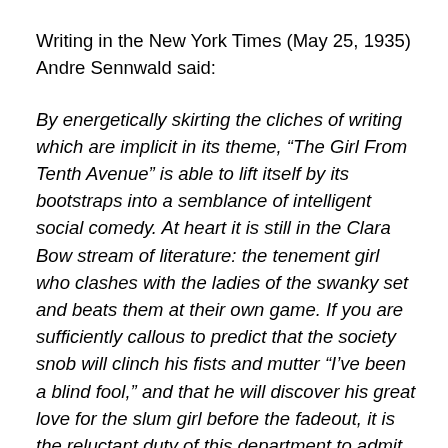Writing in the New York Times (May 25, 1935) Andre Sennwald said:
By energetically skirting the cliches of writing which are implicit in its theme, “The Girl From Tenth Avenue” is able to lift itself by its bootstraps into a semblance of intelligent social comedy. At heart it is still in the Clara Bow stream of literature: the tenement girl who clashes with the ladies of the swanky set and beats them at their own game. If you are sufficiently callous to predict that the society snob will clinch his fists and mutter “I’ve been a blind fool,” and that he will discover his great love for the slum girl before the fadeout, it is the reluctant duty of this department to admit that you are entitled to pick up the marbles. But it happens that the film is credibly played by Bette Davis and Ian Hunter, and a good deal of the writing is fresh enough to